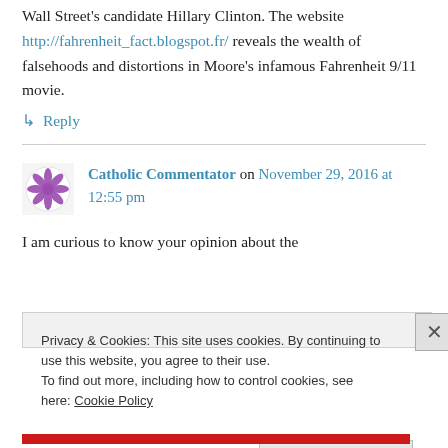Wall Street's candidate Hillary Clinton. The website http://fahrenheit_fact.blogspot.fr/ reveals the wealth of falsehoods and distortions in Moore's infamous Fahrenheit 9/11 movie.
↪ Reply
Catholic Commentator on November 29, 2016 at 12:55 pm
I am curious to know your opinion about the
Privacy & Cookies: This site uses cookies. By continuing to use this website, you agree to their use. To find out more, including how to control cookies, see here: Cookie Policy
Close and accept